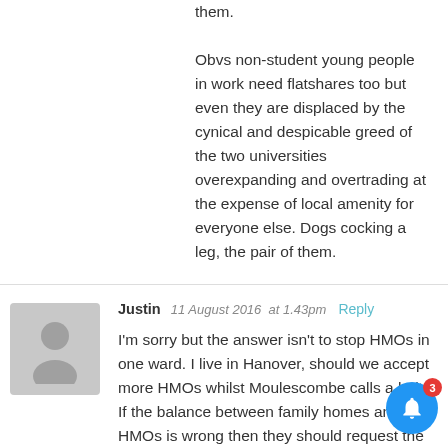them.

Obvs non-student young people in work need flatshares too but even they are displaced by the cynical and despicable greed of the two universities overexpanding and overtrading at the expense of local amenity for everyone else. Dogs cocking a leg, the pair of them.
Justin  11 August 2016  at 1.43pm  Reply

I'm sorry but the answer isn't to stop HMOs in one ward. I live in Hanover, should we accept more HMOs whilst Moulescombe calls a halt? If the balance between family homes and HMOs is wrong then they should request the council review the current regulations rather than focus on one